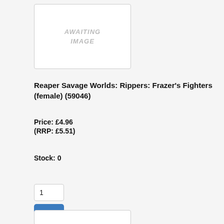[Figure (other): Placeholder image box with text AWAITING IMAGE in grey italic uppercase letters on white background with border]
Reaper Savage Worlds: Rippers: Frazer's Fighters (female) (59046)
Price: £4.96
(RRP: £5.51)
Stock: 0